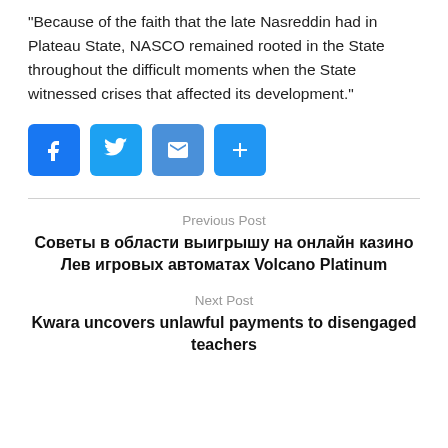“Because of the faith that the late Nasreddin had in Plateau State, NASCO remained rooted in the State throughout the difficult moments when the State witnessed crises that affected its development.”
[Figure (infographic): Four social sharing buttons in a row: Facebook (blue, F icon), Twitter (blue, bird icon), Email (blue, envelope icon), Share/More (blue, plus icon)]
Previous Post
Советы в области выигрышу на онлайн казино Лев игровых автоматах Volcano Platinum
Next Post
Kwara uncovers unlawful payments to disengaged teachers